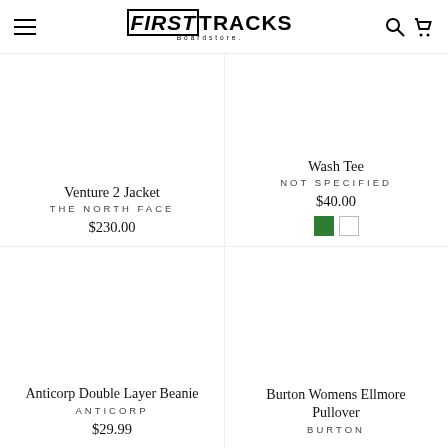FIRSTTRACKS Boardstore
Venture 2 Jacket
THE NORTH FACE
$230.00
Wash Tee
NOT SPECIFIED
$40.00
Anticorp Double Layer Beanie
ANTICORP
$29.99
Burton Womens Ellmore Pullover
BURTON